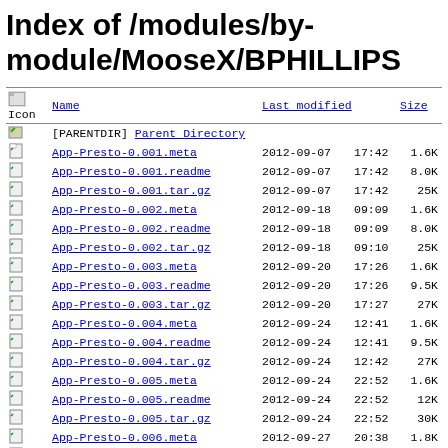Index of /modules/by-module/MooseX/BPHILLIPS
| Icon | Name | Last modified |  | Size |
| --- | --- | --- | --- | --- |
| [PARENTDIR] | Parent Directory |  |  |  |
| [ ] | App-Presto-0.001.meta | 2012-09-07 | 17:42 | 1.6K |
| [ ] | App-Presto-0.001.readme | 2012-09-07 | 17:42 | 8.0K |
| [ ] | App-Presto-0.001.tar.gz | 2012-09-07 | 17:42 | 25K |
| [ ] | App-Presto-0.002.meta | 2012-09-18 | 09:09 | 1.6K |
| [ ] | App-Presto-0.002.readme | 2012-09-18 | 09:09 | 8.0K |
| [ ] | App-Presto-0.002.tar.gz | 2012-09-18 | 09:10 | 25K |
| [ ] | App-Presto-0.003.meta | 2012-09-20 | 17:26 | 1.6K |
| [ ] | App-Presto-0.003.readme | 2012-09-20 | 17:26 | 9.5K |
| [ ] | App-Presto-0.003.tar.gz | 2012-09-20 | 17:27 | 27K |
| [ ] | App-Presto-0.004.meta | 2012-09-24 | 12:41 | 1.6K |
| [ ] | App-Presto-0.004.readme | 2012-09-24 | 12:41 | 9.5K |
| [ ] | App-Presto-0.004.tar.gz | 2012-09-24 | 12:42 | 27K |
| [ ] | App-Presto-0.005.meta | 2012-09-24 | 22:52 | 1.6K |
| [ ] | App-Presto-0.005.readme | 2012-09-24 | 22:52 | 12K |
| [ ] | App-Presto-0.005.tar.gz | 2012-09-24 | 22:52 | 30K |
| [ ] | App-Presto-0.006.meta | 2012-09-27 | 20:38 | 1.8K |
| [ ] | App-Presto-0.006.readme | 2012-09-27 | 20:38 | 12K |
| [ ] | App-Presto-0.006.tar.gz | 2012-09-27 | 20:40 | 30K |
| [ ] | App-Presto-0.007.meta | 2012-10-02 | 21:47 | 1.8K |